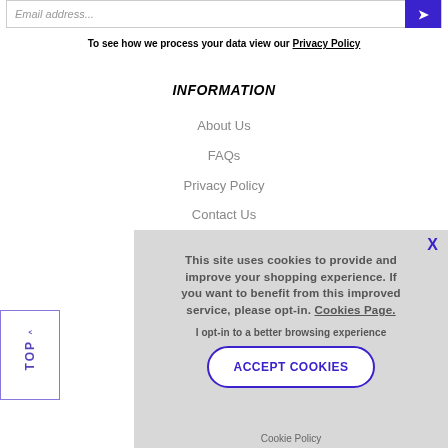Email address...
To see how we process your data view our Privacy Policy
INFORMATION
About Us
FAQs
Privacy Policy
Contact Us
This site uses cookies to provide and improve your shopping experience. If you want to benefit from this improved service, please opt-in. Cookies Page.
I opt-in to a better browsing experience
ACCEPT COOKIES
Cookie Policy